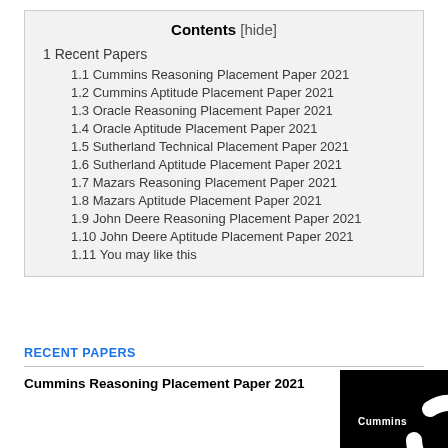Contents [hide]
1 Recent Papers
1.1 Cummins Reasoning Placement Paper 2021
1.2 Cummins Aptitude Placement Paper 2021
1.3 Oracle Reasoning Placement Paper 2021
1.4 Oracle Aptitude Placement Paper 2021
1.5 Sutherland Technical Placement Paper 2021
1.6 Sutherland Aptitude Placement Paper 2021
1.7 Mazars Reasoning Placement Paper 2021
1.8 Mazars Aptitude Placement Paper 2021
1.9 John Deere Reasoning Placement Paper 2021
1.10 John Deere Aptitude Placement Paper 2021
1.11 You may like this
RECENT PAPERS
Cummins Reasoning Placement Paper 2021
[Figure (logo): Cummins company logo — black circular logo with white 'Cummins' text on a C-shaped mark]